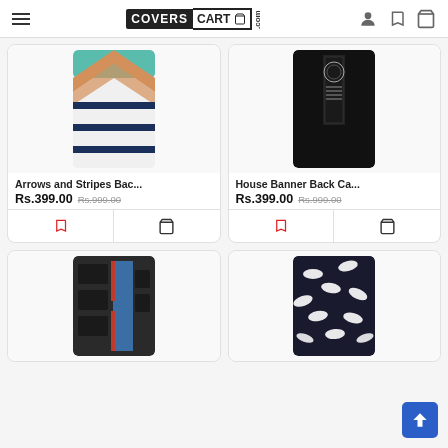CoversCart.com navigation header
[Figure (screenshot): Phone case product image: Arrows and Stripes design with orange chevron, teal triangles, and navy blue horizontal stripes]
Arrows and Stripes Bac...
Rs.399.00  Rs.999.00
[Figure (screenshot): Phone case product image: House Banner Back Case with dark/black background and decorative banner design]
House Banner Back Ca...
Rs.399.00  Rs.999.00
[Figure (screenshot): Phone case product image: Abstract geometric design with dark, blue, and red rectangular shapes]
[Figure (screenshot): Phone case product image: Mustache pattern on dark navy background with white mustache shapes]